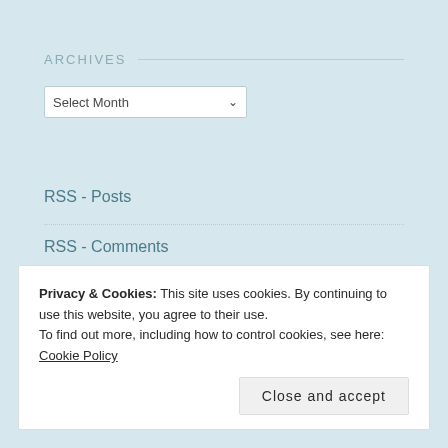ARCHIVES
Select Month
RSS - Posts
RSS - Comments
COPYRIGHT © 2007-2016.
Privacy & Cookies: This site uses cookies. By continuing to use this website, you agree to their use.
To find out more, including how to control cookies, see here: Cookie Policy
Close and accept